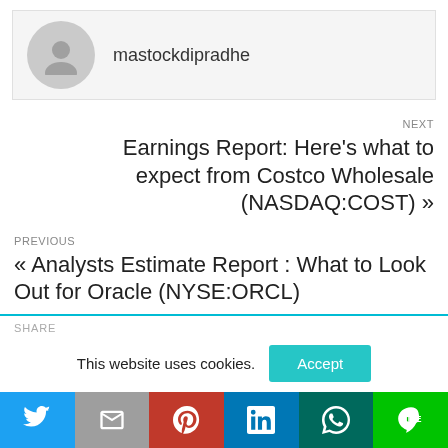[Figure (other): Author avatar placeholder (gray circle with person silhouette) next to username mastockdipradhe]
mastockdipradhe
NEXT
Earnings Report: Here's what to expect from Costco Wholesale (NASDAQ:COST) »
PREVIOUS
« Analysts Estimate Report : What to Look Out for Oracle (NYSE:ORCL)
SHARE
This website uses cookies.  Accept